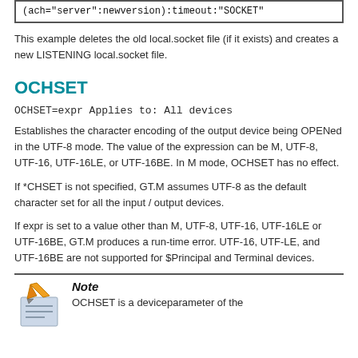(ach="server":newversion):timeout:"SOCKET"
This example deletes the old local.socket file (if it exists) and creates a new LISTENING local.socket file.
OCHSET
OCHSET=expr Applies to: All devices
Establishes the character encoding of the output device being OPENed in the UTF-8 mode. The value of the expression can be M, UTF-8, UTF-16, UTF-16LE, or UTF-16BE. In M mode, OCHSET has no effect.
If *CHSET is not specified, GT.M assumes UTF-8 as the default character set for all the input / output devices.
If expr is set to a value other than M, UTF-8, UTF-16, UTF-16LE or UTF-16BE, GT.M produces a run-time error. UTF-16, UTF-LE, and UTF-16BE are not supported for $Principal and Terminal devices.
Note
OCHSET is a deviceparameter of the